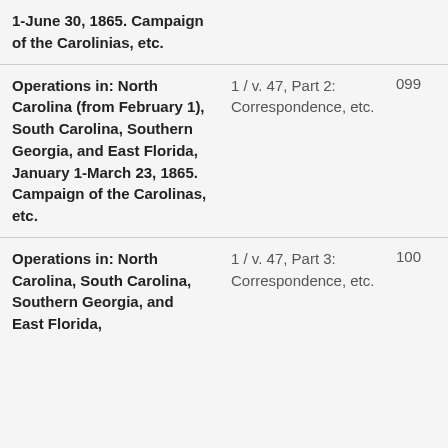| Description | Volume/Part | Num1 | Num2 |
| --- | --- | --- | --- |
| 1-June 30, 1865. Campaign of the Carolinias, etc. |  |  |  |
| Operations in: North Carolina (from February 1), South Carolina, Southern Georgia, and East Florida, January 1-March 23, 1865. Campaign of the Carolinas, etc. | 1 / v. 47, Part 2: Correspondence, etc. | 099 | 3410 |
| Operations in: North Carolina, South Carolina, Southern Georgia, and East Florida, ... | 1 / v. 47, Part 3: Correspondence, etc. | 100 | 3411 |